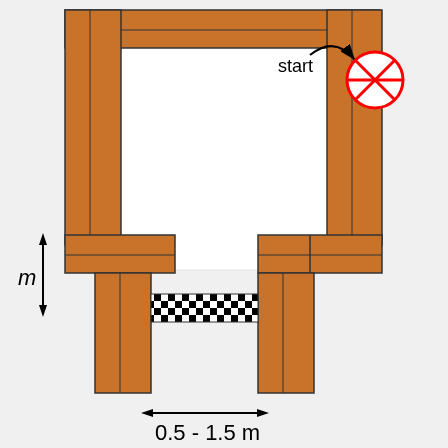[Figure (engineering-diagram): Top-down engineering diagram of a maze/obstacle course structure made of brown wooden beams. The structure has a U-shape with two vertical columns on the left and right connected by a horizontal top beam. There is an opening at the bottom center with a checkered gate/barrier between two lower columns. A red circle-with-X symbol at top right indicates the start position, with a curved arrow labeled 'start'. On the left side, a double-headed vertical arrow labeled 'm' indicates a measurement. At the bottom center, a double-headed horizontal arrow indicates a width measurement labeled '0.5 - 1.5 m'.]